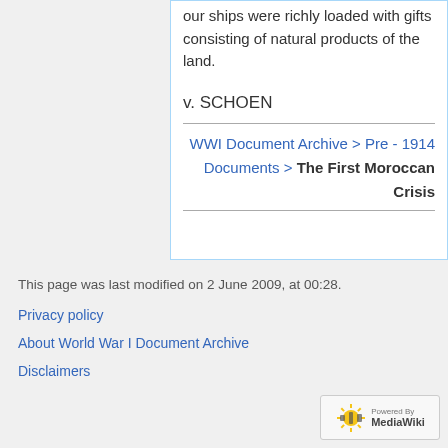our ships were richly loaded with gifts consisting of natural products of the land.
v. SCHOEN
WWI Document Archive > Pre - 1914 Documents > The First Moroccan Crisis
This page was last modified on 2 June 2009, at 00:28.
Privacy policy
About World War I Document Archive
Disclaimers